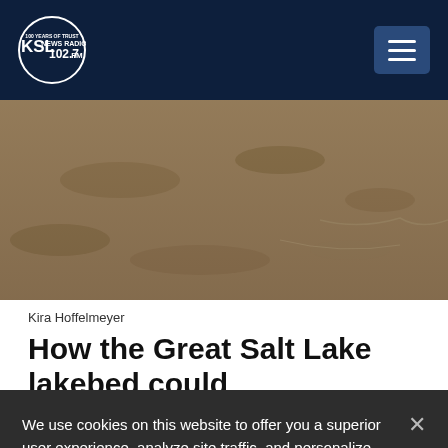KSL NewsRadio 102.7FM — 100 Years of Trust
[Figure (photo): Aerial or close-up photo of the Great Salt Lake lakebed showing dried, cracked muddy terrain with sandy and brown tones]
Kira Hoffelmeyer
How the Great Salt Lake lakebed could
We use cookies on this website to offer you a superior user experience, analyze site traffic, and personalize content and advertisements. By continuing to use our site, you consent to our use of cookies. Please visit our Privacy Policy for more information.
Accept Cookies